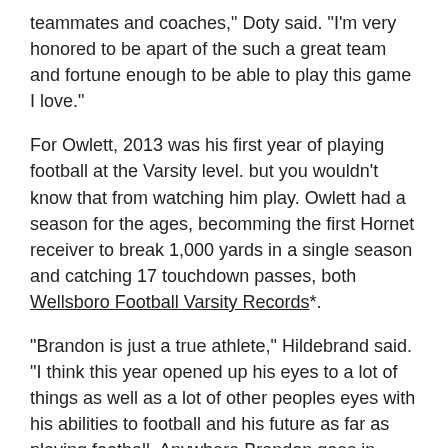teammates and coaches," Doty said. "I'm very honored to be apart of the such a great team and fortune enough to be able to play this game I love."
For Owlett, 2013 was his first year of playing football at the Varsity level. but you wouldn't know that from watching him play. Owlett had a season for the ages, becomming the first Hornet receiver to break 1,000 yards in a single season and catching 17 touchdown passes, both Wellsboro Football Varsity Records*.
"Brandon is just a true athlete," Hildebrand said. "I think this year opened up his eyes to a lot of things as well as a lot of other peoples eyes with his abilities to football and his future as far as playing football. Anywhere Brandon goes in college will be very lucky. Brandon is very raw just playing one year of varsity football and he got better every game."